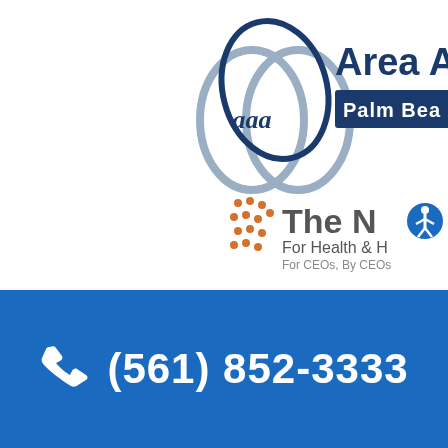[Figure (logo): Area Agency on Aging (AAA) logo with three overlapping circles in blue/gray and 'aaa' text, with 'Area A...' and 'PALM BEA...' text on a blue rectangle background — partially cropped on right]
[Figure (logo): The N... logo with orange dots pattern, accessibility icon, text 'For Health & H...' and 'For CEOs, By CEOs' — partially cropped on right]
(561) 852-3333